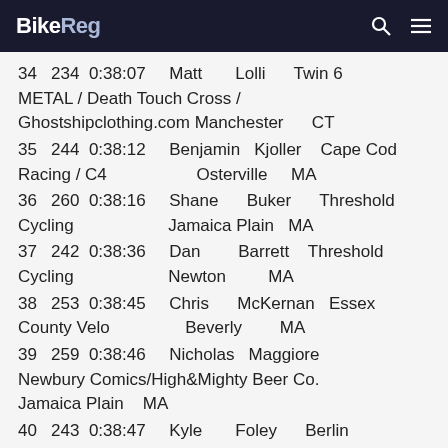BikeReg
34  234  0:38:07  Matt  Lolli  Twin 6 METAL / Death Touch Cross / Ghostshipclothing.com  Manchester  CT
35  244  0:38:12  Benjamin  Kjoller  Cape Cod Racing / C4  Osterville  MA
36  260  0:38:16  Shane  Buker  Threshold Cycling  Jamaica Plain  MA
37  242  0:38:36  Dan  Barrett  Threshold Cycling  Newton  MA
38  253  0:38:45  Chris  McKernan  Essex County Velo  Beverly  MA
39  259  0:38:46  Nicholas  Maggiore  Newbury Comics/High&Mighty Beer Co.  Jamaica Plain  MA
40  243  0:38:47  Kyle  Foley  Berlin Bicycle/Best Cleaners  Wallingford  CT